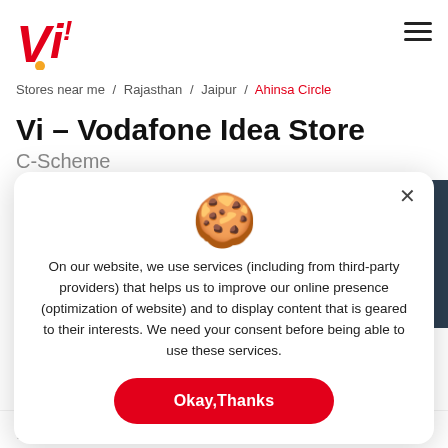[Figure (logo): Vi (Vodafone Idea) logo with red VI text and yellow dot]
Stores near me / Rajasthan / Jaipur / Ahinsa Circle
Vi – Vodafone Idea Store
C-Scheme
On our website, we use services (including from third-party providers) that helps us to improve our online presence (optimization of website) and to display content that is geared to their interests. We need your consent before being able to use these services.
Okay,Thanks
rating & reviews